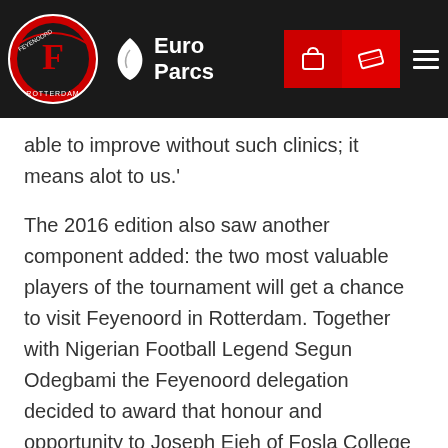Feyenoord | Euro Parcs
able to improve without such clinics; it means alot to us.'
The 2016 edition also saw another component added: the two most valuable players of the tournament will get a chance to visit Feyenoord in Rotterdam. Together with Nigerian Football Legend Segun Odegbami the Feyenoord delegation decided to award that honour and opportunity to Joseph Ejeh of Fosla College and Kelvin Amadi of Excel. The boys will most likely visit the Netherlands in the fall of 2016.
The annual visit of the Feyenoord delegation to